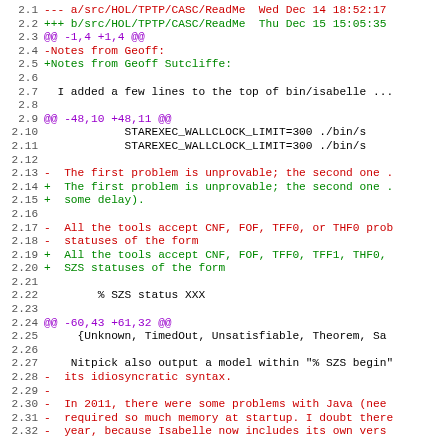Diff output showing changes to HOL/TPTP/CASC/ReadMe file between Wed Dec 14 and Thu Dec 15, including modifications to notes, STAREXEC settings, problem descriptions, tool format acceptance, SZS status, and Java-related notes.